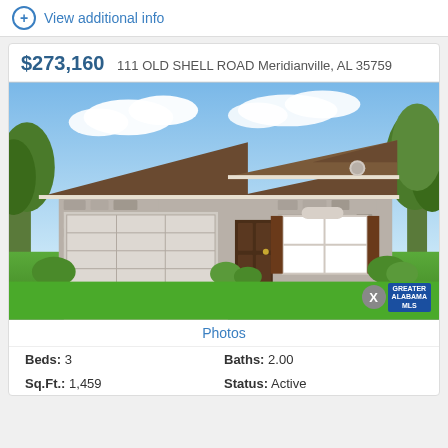View additional info
$273,160  111 OLD SHELL ROAD Meridianville, AL 35759
[Figure (photo): Exterior rendering of a single-story ranch-style home with stone facade, brown roof, two-car garage, and green lawn]
Photos
Beds: 3   Baths: 2.00
Sq.Ft.: 1,459   Status: Active